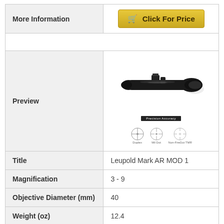| More Information | Click For Price |
| --- | --- |
| Preview | [product image of Leupold Mark AR MOD 1 rifle scope with reticle options] |
| Title | Leupold Mark AR MOD 1 |
| Magnification | 3 - 9 |
| Objective Diameter (mm) | 40 |
| Weight (oz) | 12.4 |